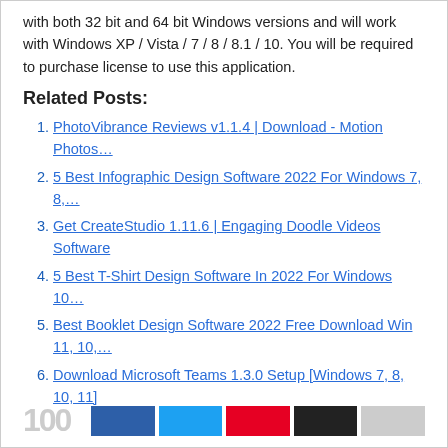with both 32 bit and 64 bit Windows versions and will work with Windows XP / Vista / 7 / 8 / 8.1 / 10. You will be required to purchase license to use this application.
Related Posts:
PhotoVibrance Reviews v1.1.4 | Download - Motion Photos…
5 Best Infographic Design Software 2022 For Windows 7, 8,…
Get CreateStudio 1.11.6 | Engaging Doodle Videos Software
5 Best T-Shirt Design Software In 2022 For Windows 10…
Best Booklet Design Software 2022 Free Download Win 11, 10,…
Download Microsoft Teams 1.3.0 Setup [Windows 7, 8, 10, 11]
100 [share buttons: Facebook, Twitter, Pinterest, Black, Gray]